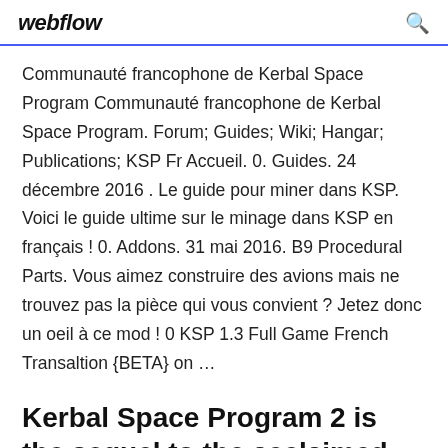webflow
Communauté francophone de Kerbal Space Program Communauté francophone de Kerbal Space Program. Forum; Guides; Wiki; Hangar; Publications; KSP Fr Accueil. 0. Guides. 24 décembre 2016 . Le guide pour miner dans KSP. Voici le guide ultime sur le minage dans KSP en français ! 0. Addons. 31 mai 2016. B9 Procedural Parts. Vous aimez construire des avions mais ne trouvez pas la pièce qui vous convient ? Jetez donc un oeil à ce mod ! 0 KSP 1.3 Full Game French Transaltion {BETA} on …
Kerbal Space Program 2 is the sequel to the acclaimed space-